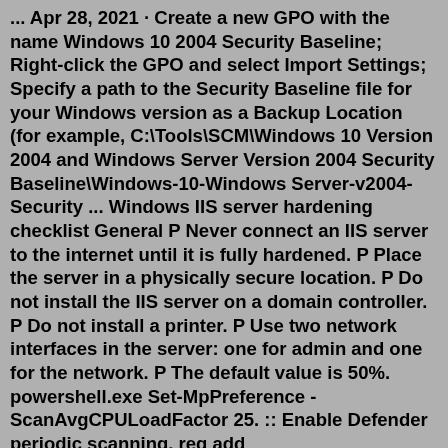... Apr 28, 2021 · Create a new GPO with the name Windows 10 2004 Security Baseline; Right-click the GPO and select Import Settings; Specify a path to the Security Baseline file for your Windows version as a Backup Location (for example, C:\Tools\SCM\Windows 10 Version 2004 and Windows Server Version 2004 Security Baseline\Windows-10-Windows Server-v2004-Security ... Windows IIS server hardening checklist General P Never connect an IIS server to the internet until it is fully hardened. P Place the server in a physically secure location. P Do not install the IIS server on a domain controller. P Do not install a printer. P Use two network interfaces in the server: one for admin and one for the network. P The default value is 50%. powershell.exe Set-MpPreference -ScanAvgCPULoadFactor 25. :: Enable Defender periodic scanning. reg add "HKCU\SOFTWARE\Microsoft\Windows Defender" /v PassiveMode /t REG_DWORD /d 2 /f. :: :: Enable